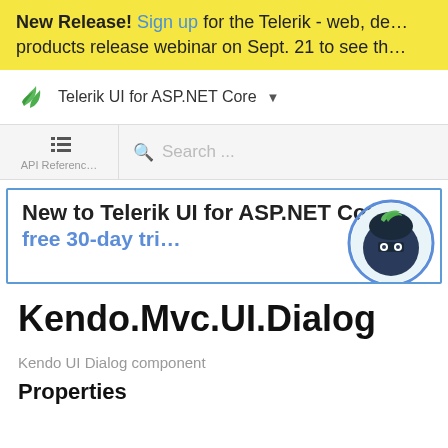New Release! Sign up for the Telerik - web, de... products release webinar on Sept. 21 to see th...
Telerik UI for ASP.NET Core
API Reference  Search ...
New to Telerik UI for ASP.NET Core free 30-day tri...
Kendo.Mvc.UI.Dialog
Kendo UI Dialog component
Properties